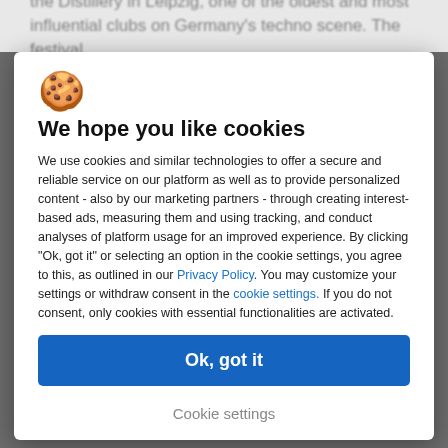the Distillery in Leipzig, one of the oldest and most influential clubs on Germany's techno scene. The festival
[Figure (illustration): Cookie emoji icon - a round cookie with chocolate chips]
We hope you like cookies
We use cookies and similar technologies to offer a secure and reliable service on our platform as well as to provide personalized content - also by our marketing partners - through creating interest-based ads, measuring them and using tracking, and conduct analyses of platform usage for an improved experience. By clicking "Ok, got it" or selecting an option in the cookie settings, you agree to this, as outlined in our Privacy Policy. You may customize your settings or withdraw consent in the cookie settings. If you do not consent, only cookies with essential functionalities are activated.
Ok, got it
Cookie settings